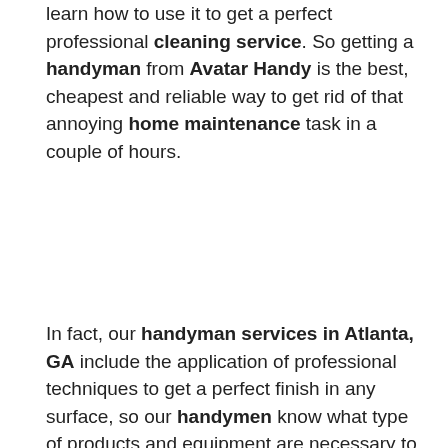learn how to use it to get a perfect professional cleaning service. So getting a handyman from Avatar Handy is the best, cheapest and reliable way to get rid of that annoying home maintenance task in a couple of hours.
In fact, our handyman services in Atlanta, GA include the application of professional techniques to get a perfect finish in any surface, so our handymen know what type of products and equipment are necessary to get the